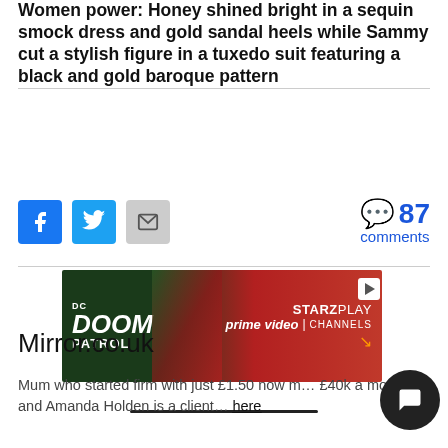Women power: Honey shined bright in a sequin smock dress and gold sandal heels while Sammy cut a stylish figure in a tuxedo suit featuring a black and gold baroque pattern
[Figure (screenshot): Social sharing icons: Facebook (blue), Twitter (blue), Email (grey envelope), and a comment bubble showing 87 comments in blue]
[Figure (screenshot): Advertisement banner for DC Doom Patrol on STARZ PLAY via Amazon Prime Video Channels]
Mirror.co.uk
Mum who started firm with just £1.50 now m… £40k a month and Amanda Holden is a client… here